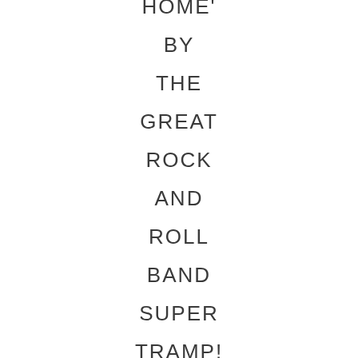HOME'
BY
THE
GREAT
ROCK
AND
ROLL
BAND
SUPER
TRAMP!